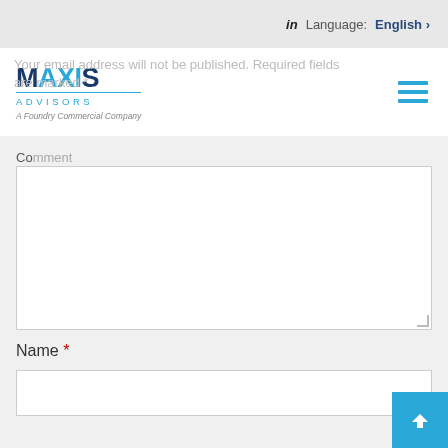in  Language:  English >
[Figure (logo): Maxis Advisors logo - A Foundry Commercial Company]
Your email address will not be published. Required fields are
Comment
Name *